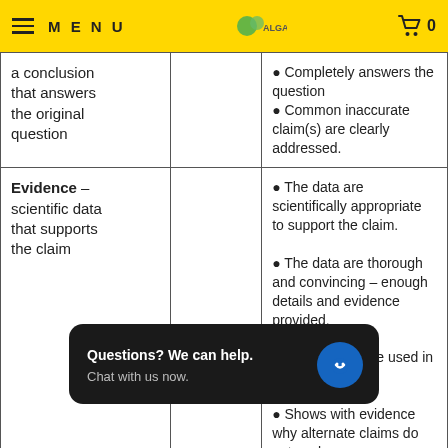MENU | ALGAE LOGO | Cart 0
| Component | Score | Criteria |
| --- | --- | --- |
| a conclusion that answers the original question |  | • Completely answers the question
• Common inaccurate claim(s) are clearly addressed. |
| Evidence – scientific data that supports the claim |  | • The data are scientifically appropriate to support the claim.
• The data are thorough and convincing – enough details and evidence provided.
• Proper units are used in data.
• Shows with evidence why alternate claims do not work |
|  |  | • Reasoning clearly |